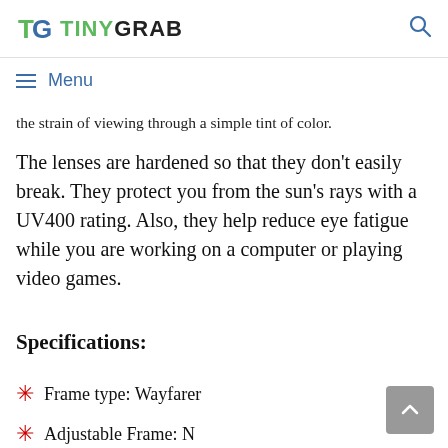TINYGRAB [logo] [search icon]
≡ Menu
the strain of viewing through a simple tint of color.
The lenses are hardened so that they don't easily break. They protect you from the sun's rays with a UV400 rating. Also, they help reduce eye fatigue while you are working on a computer or playing video games.
Specifications:
Frame type: Wayfarer
Adjustable Frame: N...